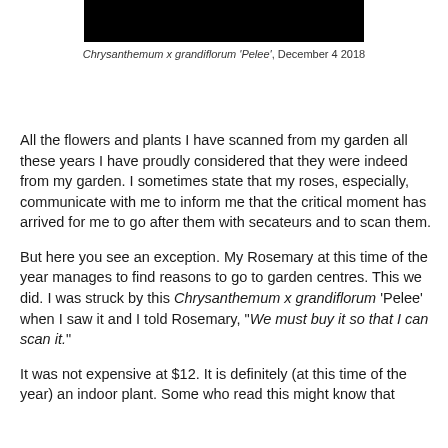[Figure (photo): Black rectangular photo block at top of page, showing a chrysanthemum plant scan (dark/black image)]
Chrysanthemum x grandiflorum 'Pelee', December 4 2018
All the flowers and plants I have scanned from my garden all these years I have proudly considered that they were indeed from my garden. I sometimes state that my roses, especially, communicate with me to inform me that the critical moment has arrived for me to go after them with secateurs and to scan them.
But here you see an exception. My Rosemary at this time of the year manages to find reasons to go to garden centres. This we did. I was struck by this Chrysanthemum x grandiflorum 'Pelee' when I saw it and I told Rosemary, "We must buy it so that I can scan it."
It was not expensive at $12. It is definitely (at this time of the year) an indoor plant. Some who read this might know that